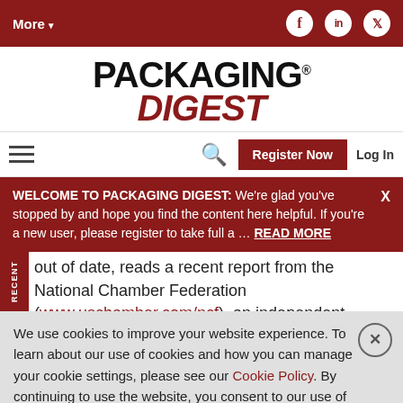More ▼   [Facebook] [LinkedIn] [Twitter]
PACKAGING DIGEST
[hamburger menu]  [search icon]  Register Now  Log In
WELCOME TO PACKAGING DIGEST: We're glad you've stopped by and hope you find the content here helpful. If you're a new user, please register to take full a ... READ MORE  X
out of date, reads a recent report from the National Chamber Federation (www.uschamber.com/ncf), an independent, nonprofit, public-policy think tank
We use cookies to improve your website experience. To learn about our use of cookies and how you can manage your cookie settings, please see our Cookie Policy. By continuing to use the website, you consent to our use of cookies.